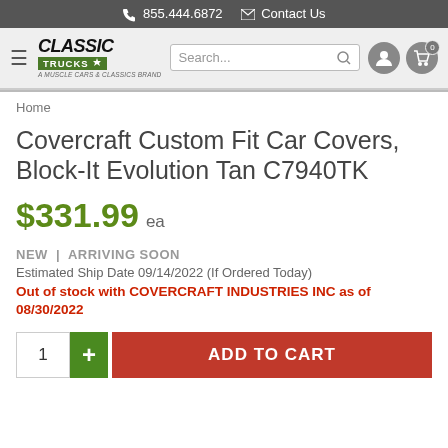855.444.6872  Contact Us
[Figure (logo): Classic Trucks logo with green bar and maple leaf, subtitle 'A Muscle Cars & Classics Brand']
Home
Covercraft Custom Fit Car Covers, Block-It Evolution Tan C7940TK
$331.99 ea
NEW  |  ARRIVING SOON
Estimated Ship Date 09/14/2022 (If Ordered Today)
Out of stock with COVERCRAFT INDUSTRIES INC as of 08/30/2022
1  +  ADD TO CART